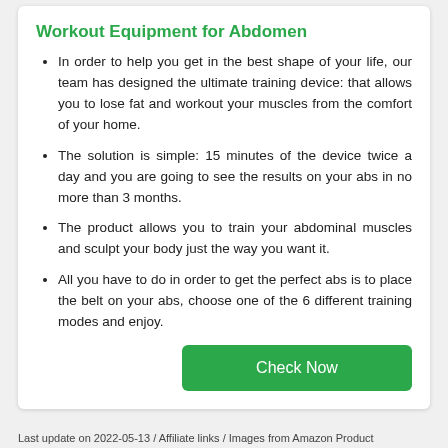Workout Equipment for Abdomen
In order to help you get in the best shape of your life, our team has designed the ultimate training device: that allows you to lose fat and workout your muscles from the comfort of your home.
The solution is simple: 15 minutes of the device twice a day and you are going to see the results on your abs in no more than 3 months.
The product allows you to train your abdominal muscles and sculpt your body just the way you want it.
All you have to do in order to get the perfect abs is to place the belt on your abs, choose one of the 6 different training modes and enjoy.
Last update on 2022-05-13 / Affiliate links / Images from Amazon Product